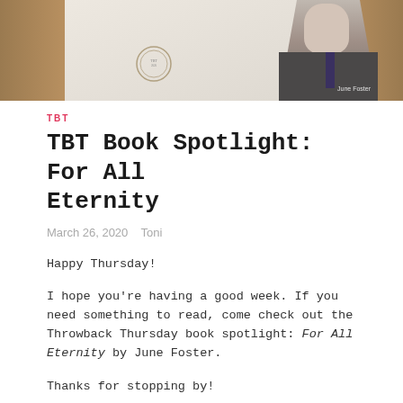[Figure (photo): A banner photo showing a man in a suit against wooden paneling background, with a decorative circular badge/seal on the left side and 'June Foster' text label. Appears to be a book cover image.]
TBT
TBT Book Spotlight: For All Eternity
March 26, 2020   Toni
Happy Thursday!
I hope you're having a good week. If you need something to read, come check out the Throwback Thursday book spotlight: For All Eternity by June Foster.
Thanks for stopping by!